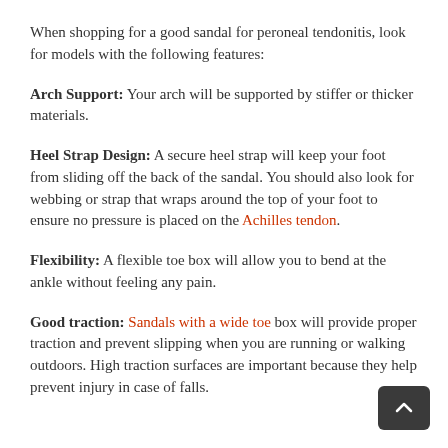When shopping for a good sandal for peroneal tendonitis, look for models with the following features:
Arch Support: Your arch will be supported by stiffer or thicker materials.
Heel Strap Design: A secure heel strap will keep your foot from sliding off the back of the sandal. You should also look for webbing or strap that wraps around the top of your foot to ensure no pressure is placed on the Achilles tendon.
Flexibility: A flexible toe box will allow you to bend at the ankle without feeling any pain.
Good traction: Sandals with a wide toe box will provide proper traction and prevent slipping when you are running or walking outdoors. High traction surfaces are important because they help prevent injury in case of falls.